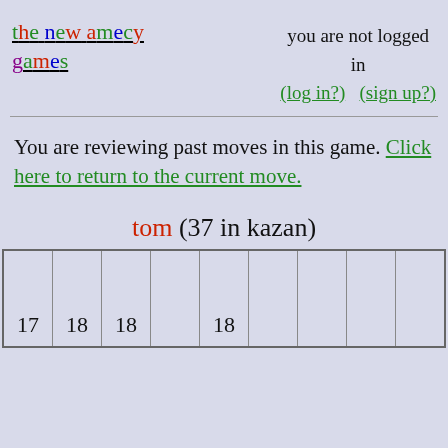the new amecy games
you are not logged in (log in?) (sign up?)
You are reviewing past moves in this game. Click here to return to the current move.
tom (37 in kazan)
| 17 | 18 | 18 |  | 18 |  |  |  |  |